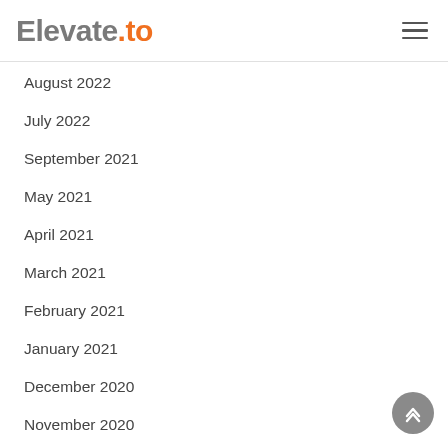Elevate.to
August 2022
July 2022
September 2021
May 2021
April 2021
March 2021
February 2021
January 2021
December 2020
November 2020